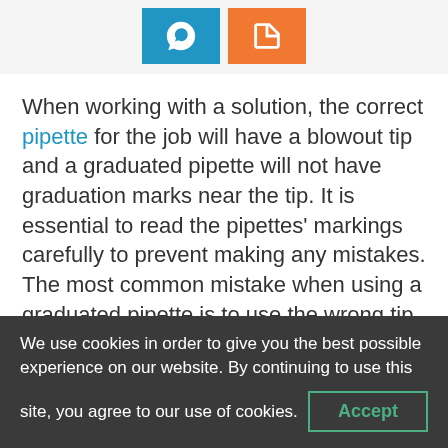[Figure (other): Two social sharing icon buttons: a blue Skype button and an orange share/bookmark button]
When working with a solution, the correct pipette for the job will have a blowout tip and a graduated pipette will not have graduation marks near the tip. It is essential to read the pipettes' markings carefully to prevent making any mistakes. The most common mistake when using a graduated pipette is to use the wrong tip.
A measuring pipette is a graduated pipette with graduations that run the length of the tube.
We use cookies in order to give you the best possible experience on our website. By continuing to use this site, you agree to our use of cookies. Accept